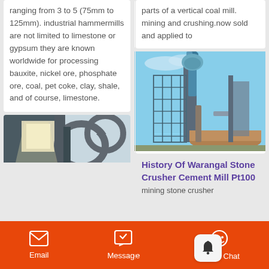ranging from 3 to 5 (75mm to 125mm). industrial hammermills are not limited to limestone or gypsum they are known worldwide for processing bauxite, nickel ore, phosphate ore, coal, pet coke, clay, shale, and of course, limestone.
parts of a vertical coal mill. mining and crushing.now sold and applied to
[Figure (photo): Industrial vertical mill or tower structure with pipes and machinery against a blue sky background]
History Of Warangal Stone Crusher Cement Mill Pt100
mining stone crusher
[Figure (photo): Industrial machinery interior showing large curved pipes or ducts with bright light]
Email   Message   Online Chat